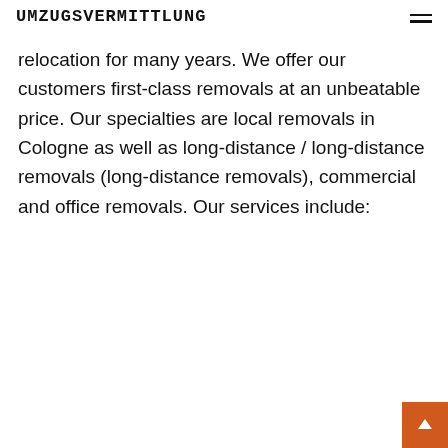UMZUGSVERMITTLUNG
relocation for many years. We offer our customers first-class removals at an unbeatable price. Our specialties are local removals in Cologne as well as long-distance / long-distance removals (long-distance removals), commercial and office removals. Our services include: